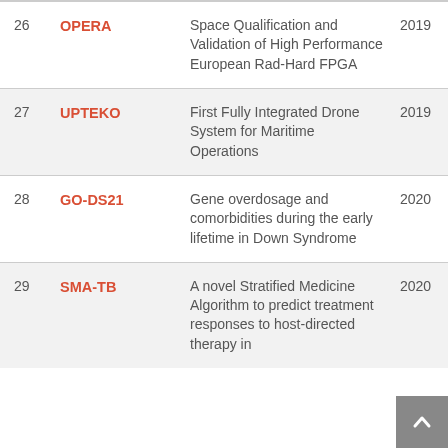| # | Name | Description | Year |
| --- | --- | --- | --- |
| 26 | OPERA | Space Qualification and Validation of High Performance European Rad-Hard FPGA | 2019 |
| 27 | UPTEKO | First Fully Integrated Drone System for Maritime Operations | 2019 |
| 28 | GO-DS21 | Gene overdosage and comorbidities during the early lifetime in Down Syndrome | 2020 |
| 29 | SMA-TB | A novel Stratified Medicine Algorithm to predict treatment responses to host-directed therapy in | 2020 |